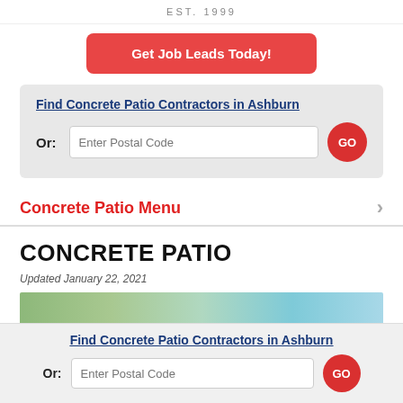EST. 1999
Get Job Leads Today!
Find Concrete Patio Contractors in Ashburn
Or:  Enter Postal Code  GO
Concrete Patio Menu
CONCRETE PATIO
Updated January 22, 2021
[Figure (photo): Partial view of a concrete patio area with trees and sky]
Find Concrete Patio Contractors in Ashburn
Or:  Enter Postal Code  GO